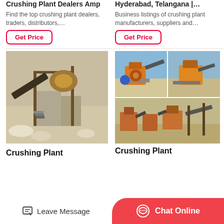Crushing Plant Dealers Amp
Find the top crushing plant dealers, traders, distributors,…
Get Price
Hyderabad, Telangana |…
Business listings of crushing plant manufacturers, suppliers and…
Get Price
[Figure (photo): Industrial crushing plant equipment with conveyor belts and machinery on a rocky site]
Crushing Plant
[Figure (photo): Two photos of orange crushing plant equipment in a dry outdoor setting, and one wider photo of multiple crushing plant machines]
Crushing Plant
Leave Message
Chat Online